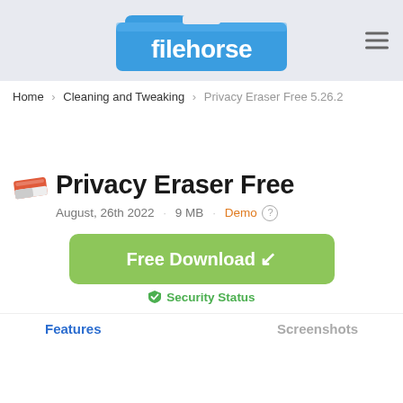[Figure (logo): Filehorse website logo — blue folder icon with 'filehorse' text in white]
Home > Cleaning and Tweaking > Privacy Eraser Free 5.26.2
Privacy Eraser Free
August, 26th 2022  ·  9 MB  ·  Demo
Free Download
Security Status
Features	Screenshots